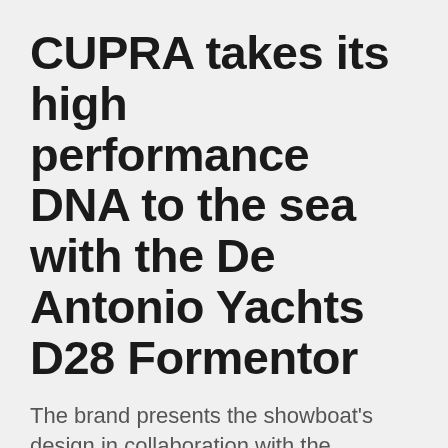CUPRA takes its high performance DNA to the sea with the De Antonio Yachts D28 Formentor
The brand presents the showboat's design in collaboration with the Barcelona shipyard
[Figure (infographic): Three circular social media icons: Facebook (f), Twitter (bird), and LinkedIn (in), all in blue]